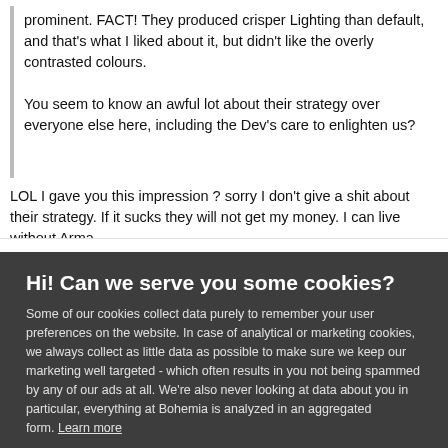prominent. FACT! They produced crisper Lighting than default, and that's what I liked about it, but didn't like the overly contrasted colours.
You seem to know an awful lot about their strategy over everyone else here, including the Dev's care to enlighten us?
LOL I gave you this impression ? sorry I don't give a shit about their strategy. If it sucks they will not get my money. I can live without Arma.
Hi! Can we serve you some cookies?
Some of our cookies collect data purely to remember your user preferences on the website. In case of analytical or marketing cookies, we always collect as little data as possible to make sure we keep our marketing well targeted - which often results in you not being spammed by any of our ads at all. We're also never looking at data about you in particular, everything at Bohemia is analyzed in an aggregated form. Learn more
Allow all cookies
I want more options